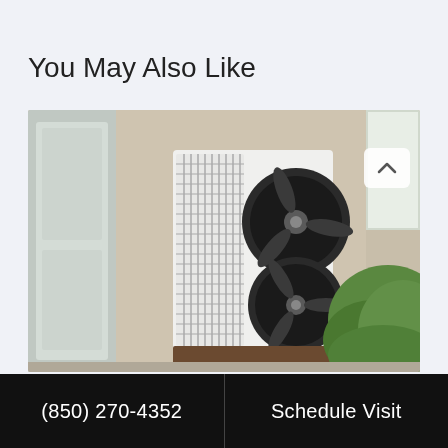You May Also Like
[Figure (photo): Outdoor HVAC air conditioning unit with two large circular fans mounted on a brown platform against a beige wall, with green foliage on the right and a window/door on the left and upper right]
(850) 270-4352
Schedule Visit